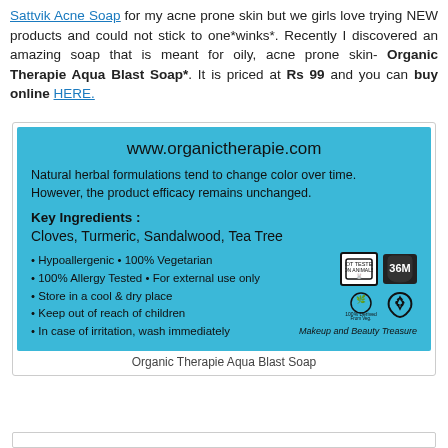Sattvik Acne Soap for my acne prone skin but we girls love trying NEW products and could not stick to one*winks*. Recently I discovered an amazing soap that is meant for oily, acne prone skin- Organic Therapie Aqua Blast Soap*. It is priced at Rs 99 and you can buy online HERE.
[Figure (photo): Photo of the back label of Organic Therapie Aqua Blast Soap on a blue background. Shows website www.organictherapie.com, notice about natural herbal formulations, key ingredients (Cloves, Turmeric, Sandalwood, Tea Tree), bullet points with product info, and certification icons including Not Tested on Animals and 36M open jar symbol.]
Organic Therapie Aqua Blast Soap